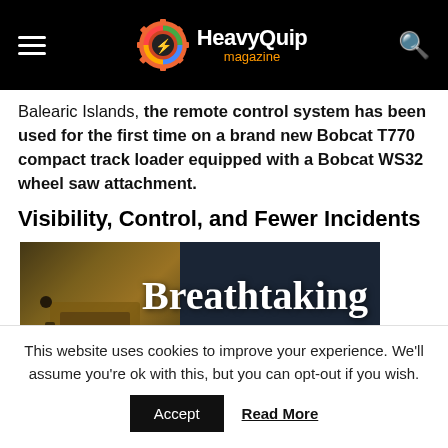HeavyQuip magazine
Balearic Islands, the remote control system has been used for the first time on a brand new Bobcat T770 compact track loader equipped with a Bobcat WS32 wheel saw attachment.
Visibility, Control, and Fewer Incidents
[Figure (photo): Dark background image with large white serif text reading 'Breathtaking speed', with a machinery/equipment image on the left side]
This website uses cookies to improve your experience. We'll assume you're ok with this, but you can opt-out if you wish. Accept | Read More